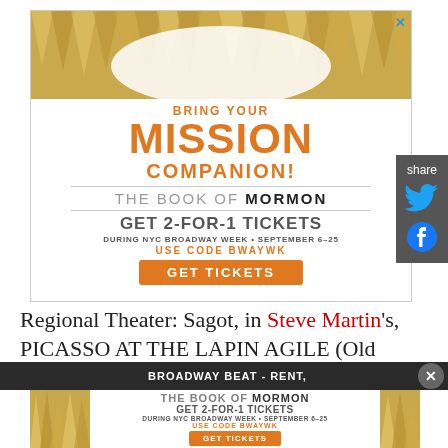[Figure (illustration): Advertisement for The Book of Mormon Broadway show. Gold spike decorative top border, orange text 'BRING YOUR MISSION COMPANION!', then 'THE BOOK OF MORMON', 'GET 2-FOR-1 TICKETS', 'DURING NYC BROADWAY WEEK • SEPTEMBER 6-25', 'USE CODE BWAYWK', orange GET TICKETS button. Has an X close button top right.]
[Figure (illustration): Share sidebar with dark grey background, 'share' label, Twitter bird icon in blue, Facebook circle icon in blue.]
Regional Theater: Sagot, in Steve Martin's, PICASSO AT THE LAPIN AGILE (Old Globe, San
[Figure (illustration): Dark bar with 'BROADWAY BEAT - RENT,' text and close button, plus a bottom banner ad for The Book of Mormon showing 'THE BOOK OF MORMON', 'GET 2-FOR-1 TICKETS', 'DURING NYC BROADWAY WEEK • SEPTEMBER 6-25', 'USE CODE BWAYWK', orange GET TICKETS button, all on gold spike background.]